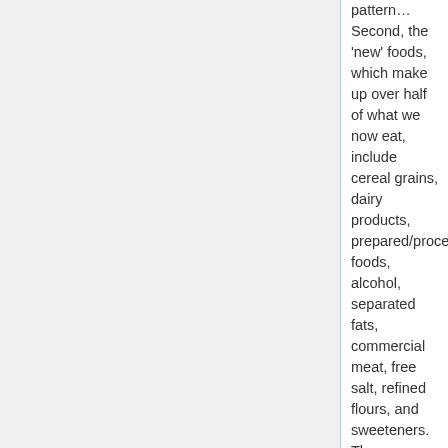pattern…Second, the 'new' foods, which make up over half of what we now eat, include cereal grains, dairy products, prepared/processed foods, alcohol, separated fats, commercial meat, free salt, refined flours, and sweeteners. These collectively alter the mix of dietary constituents in